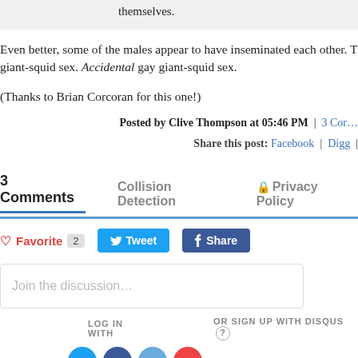themselves.
Even better, some of the males appear to have inseminated each other. T… giant-squid sex. Accidental gay giant-squid sex.
(Thanks to Brian Corcoran for this one!)
Posted by Clive Thompson at 05:46 PM | 3 Cor…
Share this post: Facebook | Digg |
3 Comments   Collision Detection   🔒 Privacy Policy
♡ Favorite  2   [Tweet]  [f Share]
Join the discussion…
LOG IN WITH
OR SIGN UP WITH DISQUS ?